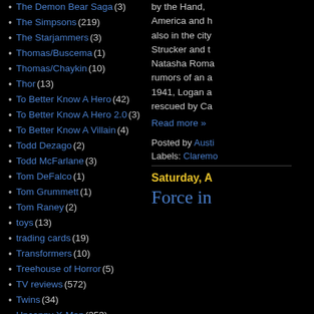The Demon Bear Saga (3)
The Simpsons (219)
The Starjammers (3)
Thomas/Buscema (1)
Thomas/Chaykin (10)
Thor (13)
To Better Know A Hero (42)
To Better Know A Hero 2.0 (3)
To Better Know A Villain (4)
Todd Dezago (2)
Todd McFarlane (3)
Tom DeFalco (1)
Tom Grummett (1)
Tom Raney (2)
toys (13)
trading cards (19)
Transformers (10)
Treehouse of Horror (5)
TV reviews (572)
Twins (34)
Uncanny X-Men (253)
Unstacking the Deck (18)
Video Games (9)
by the Hand, America and h also in the city Strucker and t Natasha Roma rumors of an a 1941, Logan a rescued by Ca
Read more »
Posted by Austi
Labels: Claremo
Saturday, A
Force in